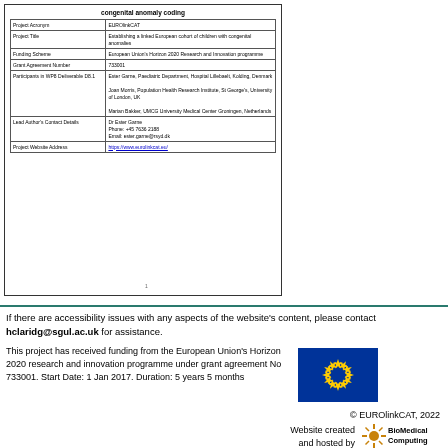|  |  |
| --- | --- |
| Project Acronym | EUROlinkCAT |
| Project Title | Establishing a linked European cohort of children with congenital anomalies |
| Funding Scheme | European Union's Horizon 2020 Research and Innovation programme |
| Grant Agreement Number | 733001 |
| Participants in WP8 Deliverable D8.1 | Ester Garne, Paediatric Department, Hospital Lillebaelt, Kolding, Denmark

Joan Morris, Population Health Research Institute, St George's, University of London, UK

Marian Bakker, UMCG University Medical Center Groningen, Netherlands |
| Lead Author's Contact Details | Dr Ester Garne
Phone: +45 7636 2188
Email: ester.garne@rsyd.dk |
| Project Website Address | https://www.eurolinkcat.eu/ |
If there are accessibility issues with any aspects of the website's content, please contact hclaridg@sgul.ac.uk for assistance.
This project has received funding from the European Union's Horizon 2020 research and innovation programme under grant agreement No 733001. Start Date: 1 Jan 2017. Duration: 5 years 5 months
[Figure (illustration): EU flag - blue background with circle of 12 yellow stars]
© EUROlinkCAT, 2022
Website created and hosted by
[Figure (logo): BioMedical Computing logo with orange/gold spiky icon]